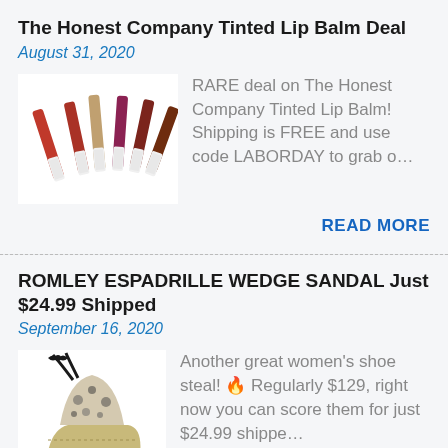The Honest Company Tinted Lip Balm Deal
August 31, 2020
[Figure (photo): Photo of multiple Honest Company tinted lip balm sticks fanned out]
RARE deal on The Honest Company Tinted Lip Balm!  Shipping is FREE and use code LABORDAY to grab o…
READ MORE
ROMLEY ESPADRILLE WEDGE SANDAL Just $24.99 Shipped
September 16, 2020
[Figure (photo): Photo of a women's espadrille wedge sandal with black laces]
Another great women's shoe steal! 🔥 Regularly $129, right now you can score them for just $24.99 shippe…
READ MORE